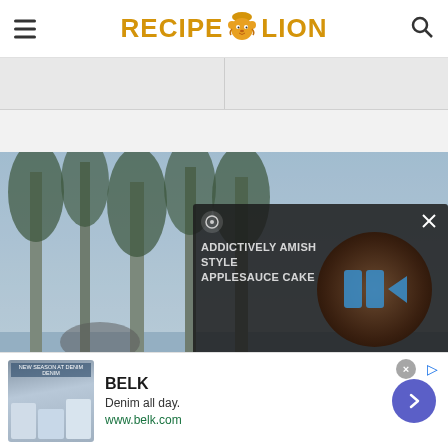RECIPE LION
[Figure (screenshot): RecipeLion website screenshot showing the header with hamburger menu, RecipeLion logo with lion mascot, and search icon; gray card strip below; main outdoor photo with trees; video overlay showing 'Addictively Amish Style Applesauce Cake' with play button and mute button; caption overlay reading 'Support your dog's heart health with no corn,'; and a BELK advertisement banner at the bottom with 'Denim all day.' tagline and www.belk.com URL]